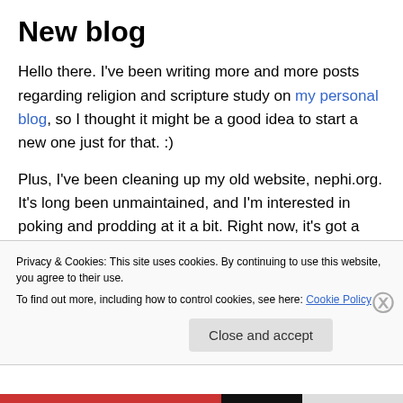New blog
Hello there. I've been writing more and more posts regarding religion and scripture study on my personal blog, so I thought it might be a good idea to start a new one just for that. :)
Plus, I've been cleaning up my old website, nephi.org. It's long been unmaintained, and I'm interested in poking and prodding at it a bit. Right now, it's got a few bugs hanging about, but I'm working on it in the background on a new
Privacy & Cookies: This site uses cookies. By continuing to use this website, you agree to their use.
To find out more, including how to control cookies, see here: Cookie Policy
Close and accept